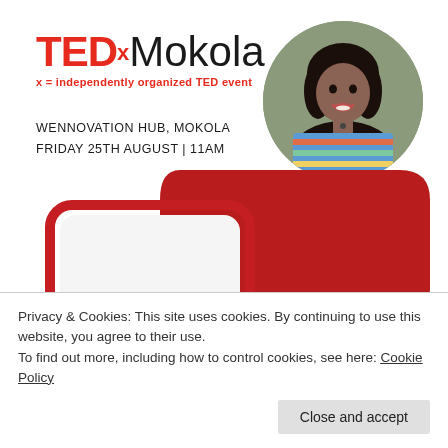TEDx Mokola
x = independently organized TED event
WENNOVATION HUB, MOKOLA
FRIDAY 25TH AUGUST | 11AM
[Figure (photo): Circular portrait photo of a young woman with long dark hair, smiling, wearing a colorful striped top]
[Figure (illustration): Red decorative geometric shapes - overlapping rounded rectangles and solid rectangle forming TED-style graphic]
Privacy & Cookies: This site uses cookies. By continuing to use this website, you agree to their use.
To find out more, including how to control cookies, see here: Cookie Policy
Close and accept